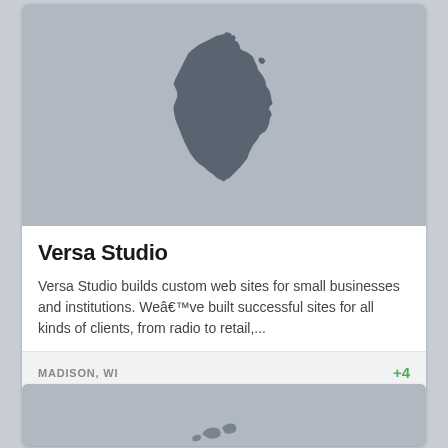[Figure (map): Gray silhouette of the state of Wisconsin on a light gray background]
Versa Studio
Versa Studio builds custom web sites for small businesses and institutions. Weâ€™ve built successful sites for all kinds of clients, from radio to retail,...
MADISON, WI
+4
[Figure (map): Partial map image at the bottom of the page, partially visible]